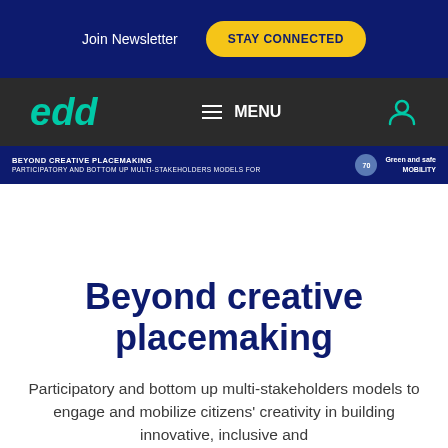Join Newsletter  STAY CONNECTED
[Figure (logo): edd logo with menu navigation bar on dark background]
[Figure (screenshot): Article preview bar: BEYOND CREATIVE PLACEMAKING with green and safe MOBILITY badge]
Beyond creative placemaking
Participatory and bottom up multi-stakeholders models to engage and mobilize citizens' creativity in building innovative, inclusive and